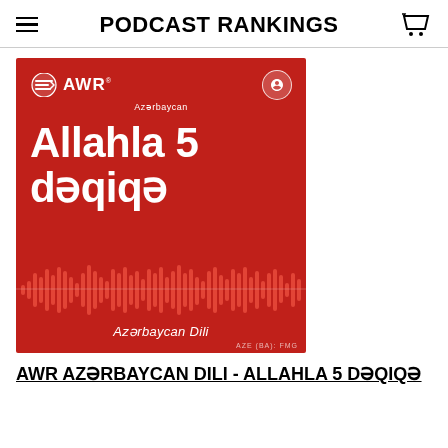PODCAST RANKINGS
[Figure (illustration): AWR Azerbaycan podcast cover art on red background with text 'Allahla 5 dəqiqə', audio waveform graphic, 'Azərbaycan Dili' subtitle, and AWR logo at top.]
AWR AZƏRBAYCAN DILI - ALLAHLA 5 DƏQIQƏ